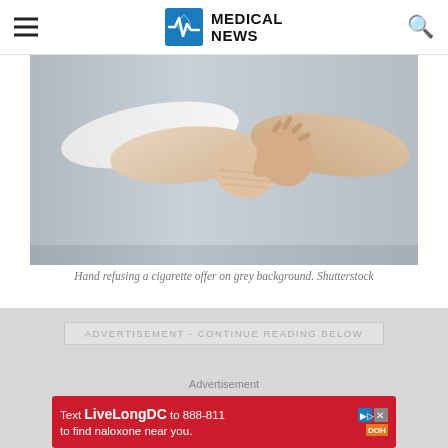MEDICAL NEWS
[Figure (photo): Two hands doing a fist bump against a grey background, one hand wearing a white sleeve]
Hand refusing a cigarette offer on grey background. Shutterstock
ADVERTISEMENT - CONTINUE READING BELOW
Advertisement
[Figure (screenshot): Red advertisement banner: Text LiveLongDC to 888-811 to find naloxone near you.]